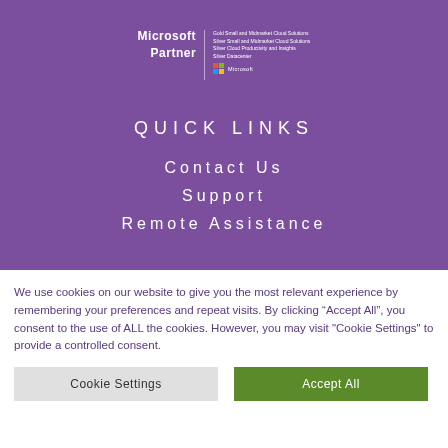[Figure (logo): Microsoft Partner logo with four-color Windows squares and partner taglines on purple background]
QUICK LINKS
Contact Us
Support
Remote Assistance
We use cookies on our website to give you the most relevant experience by remembering your preferences and repeat visits. By clicking “Accept All”, you consent to the use of ALL the cookies. However, you may visit "Cookie Settings" to provide a controlled consent.
Cookie Settings
Accept All